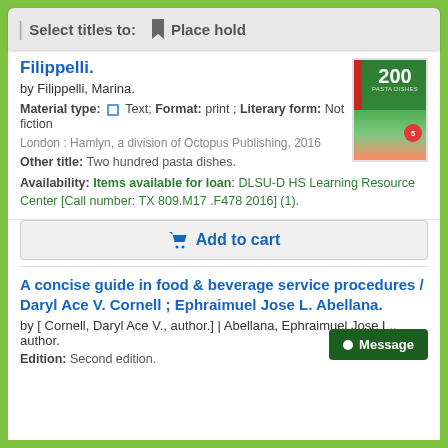| Select titles to: 🔖 Place hold
Filippelli.
by Filippelli, Marina.
Material type: Text; Format: print ; Literary form: Not fiction
London : Hamlyn, a division of Octopus Publishing, 2016
Other title: Two hundred pasta dishes.
Availability: Items available for loan: DLSU-D HS Learning Resource Center [Call number: TX 809.M17 .F478 2016] (1).
Add to cart
A concise guide in food & beverage service procedures / Daryl Ace V. Cornell ; Ephraimuel Jose L. Abellana.
by [ Cornell, Daryl Ace V., author.] | Abellana, Ephraimuel Jose L., author.
Edition: Second edition.
[Figure (other): Book cover for 200 pasta dishes showing pasta food photograph]